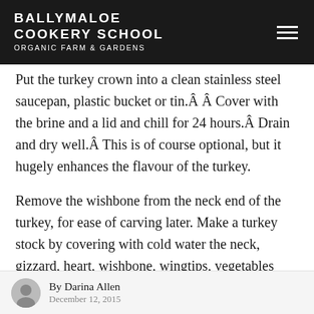BALLYMALOE COOKERY SCHOOL ORGANIC FARM & GARDENS
Put the turkey crown into a clean stainless steel saucepan, plastic bucket or tin.Â Â  Cover with the brine and a lid and chill for 24 hours.Â  Drain and dry well.Â  This is of course optional, but it hugely enhances the flavour of the turkey.
Remove the wishbone from the neck end of the turkey, for ease of carving later. Make a turkey stock by covering with cold water the neck, gizzard, heart, wishbone, wingtips, vegetables
By Darina Allen December 12, 2015